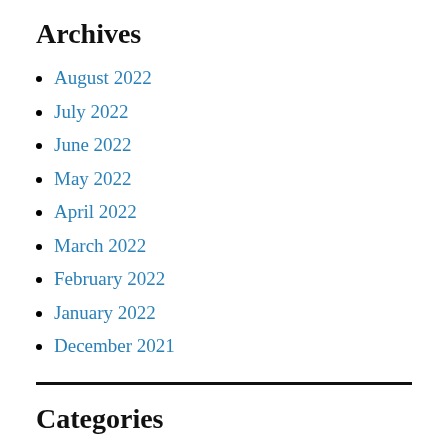Archives
August 2022
July 2022
June 2022
May 2022
April 2022
March 2022
February 2022
January 2022
December 2021
Categories
10 Hottest Replica Watch Site 2020 At Our